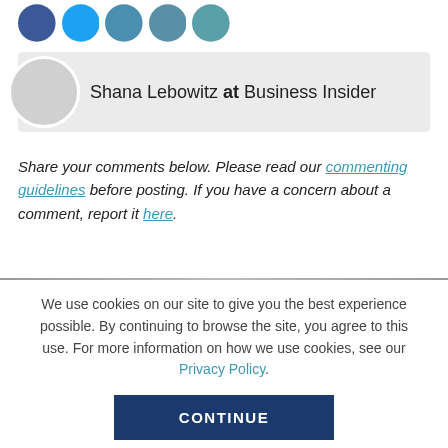[Figure (other): Social media sharing icon buttons (Facebook, Twitter, messaging, email, more) as colored circles at the top of the page]
Shana Lebowitz at Business Insider
Share your comments below. Please read our commenting guidelines before posting. If you have a concern about a comment, report it here.
We use cookies on our site to give you the best experience possible. By continuing to browse the site, you agree to this use. For more information on how we use cookies, see our Privacy Policy.
CONTINUE